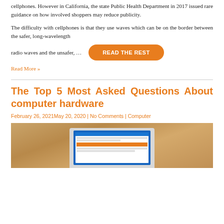cellphones. However in California, the state Public Health Department in 2017 issued rare guidance on how involved shoppers may reduce publicity.
The difficulty with cellphones is that they use waves which can be on the border between the safer, long-wavelength
radio waves and the unsafer, …
[Figure (other): Orange rounded button with white bold text READ THE REST]
Read More »
The Top 5 Most Asked Questions About computer hardware
February 26, 2021May 20, 2020 | No Comments | Computer
[Figure (photo): Photo of a laptop on a wooden table surface, with a browser window open showing a laptop repair website with blue and orange elements]